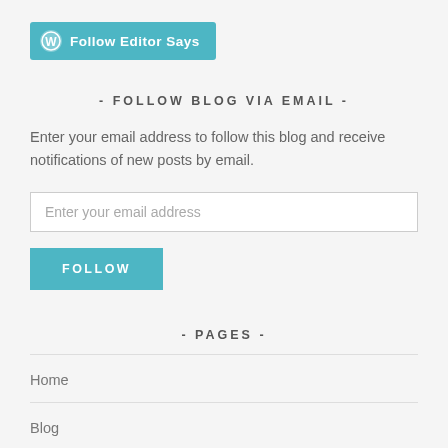[Figure (logo): WordPress Follow Editor Says button with teal background and WordPress logo icon]
- FOLLOW BLOG VIA EMAIL -
Enter your email address to follow this blog and receive notifications of new posts by email.
Enter your email address
FOLLOW
- PAGES -
Home
Blog